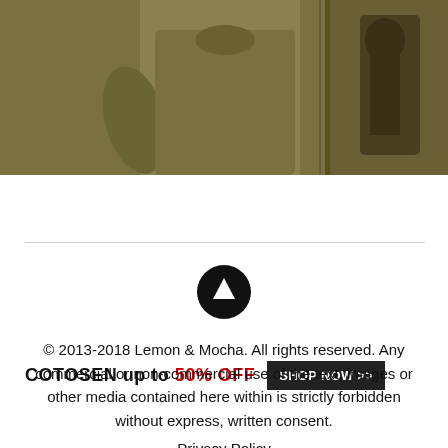[Figure (photo): Advertisement banner showing two t-shirts on olive/brown background]
[Figure (infographic): COTOSEN up to 50% OFF SHOP NOW >> advertisement bar with black button]
[Figure (other): Black circle with white upward arrow icon (scroll to top button)]
© 2013-2018 Lemon & Mocha. All rights reserved. Any commercial or non-commercial use of the text, images or other media contained here within is strictly forbidden without express, written consent. Privacy Policy